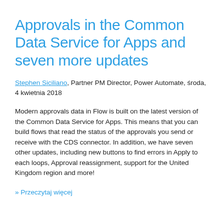Approvals in the Common Data Service for Apps and seven more updates
Stephen Siciliano, Partner PM Director, Power Automate, środa, 4 kwietnia 2018
Modern approvals data in Flow is built on the latest version of the Common Data Service for Apps. This means that you can build flows that read the status of the approvals you send or receive with the CDS connector. In addition, we have seven other updates, including new buttons to find errors in Apply to each loops, Approval reassignment, support for the United Kingdom region and more!
» Przeczytaj więcej